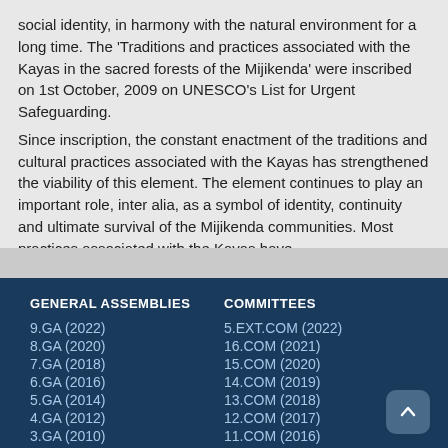social identity, in harmony with the natural environment for a long time. The 'Traditions and practices associated with the Kayas in the sacred forests of the Mijikenda' were inscribed on 1st October, 2009 on UNESCO's List for Urgent Safeguarding.
Since inscription, the constant enactment of the traditions and cultural practices associated with the Kayas has strengthened the viability of this element. The element continues to play an important role, inter alia, as a symbol of identity, continuity and ultimate survival of the Mijikenda communities. Most practices associated with the Kayas have
| GENERAL ASSEMBLIES | COMMITTEES |
| --- | --- |
| 9.GA (2022) | 5.EXT.COM (2022) |
| 8.GA (2020) | 16.COM (2021) |
| 7.GA (2018) | 15.COM (2020) |
| 6.GA (2016) | 14.COM (2019) |
| 5.GA (2014) | 13.COM (2018) |
| 4.GA (2012) | 12.COM (2017) |
| 3.GA (2010) | 11.COM (2016) |
| 2.GA (2008) | 10.COM (2015) |